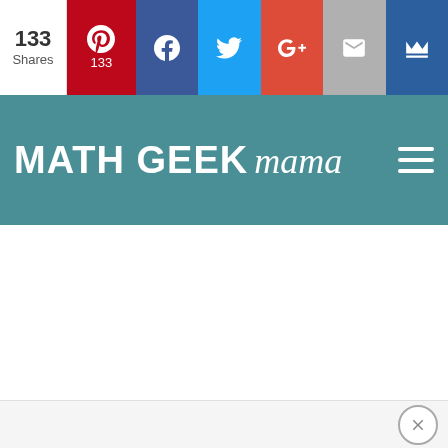133 Shares | Pinterest 133 | Facebook | Twitter | Google+ | Email | Crown
MATH GEEK mama
[Figure (screenshot): White blank main content area of Math Geek Mama website]
[Figure (other): Bottom ad bar with close (X) button]